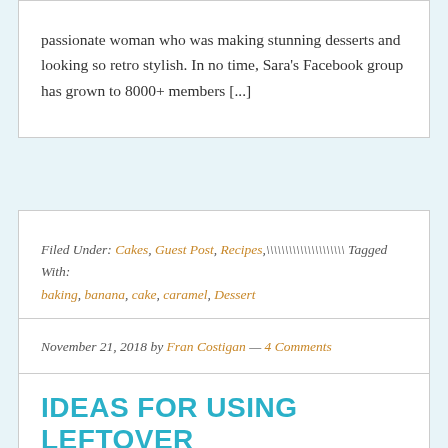passionate woman who was making stunning desserts and looking so retro stylish. In no time, Sara's Facebook group has grown to 8000+ members [...]
Filed Under: Cakes, Guest Post, Recipes,\\\\\\\\\\\\\\\\\\\\ Tagged With: baking, banana, cake, caramel, Dessert
November 21, 2018 by Fran Costigan — 4 Comments
IDEAS FOR USING LEFTOVER